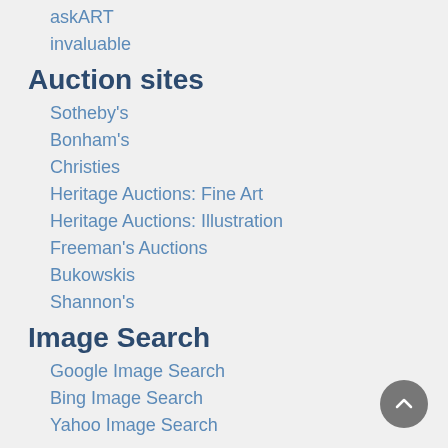askART
invaluable
Auction sites
Sotheby's
Bonham's
Christies
Heritage Auctions: Fine Art
Heritage Auctions: Illustration
Freeman's Auctions
Bukowskis
Shannon's
Image Search
Google Image Search
Bing Image Search
Yahoo Image Search
Reverse Image Search (search by image)
Tin Eye
RevImg